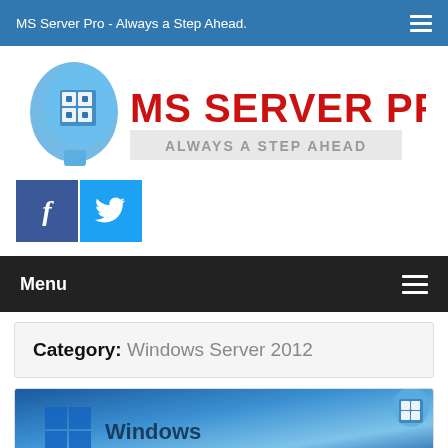MS Server Pro - Always a Step Ahead.
[Figure (logo): MS Server Pro logo with brain/circuit icon and tagline ALWAYS A STEP AHEAD]
[Figure (infographic): Social media buttons: Facebook (dark blue) and Twitter (light blue)]
Menu
Category: Windows Server 2012
[Figure (screenshot): Article thumbnail showing Windows branding on blue gradient background with MS Server Pro badge]